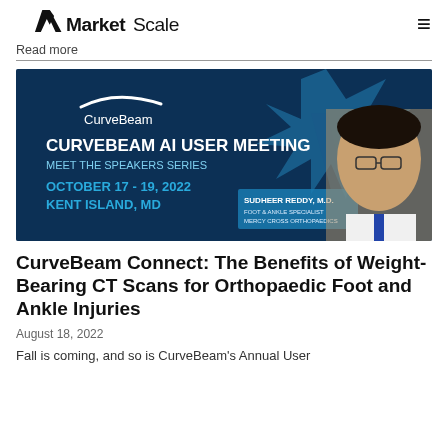MarketScale
Read more
[Figure (photo): CurveBeam AI User Meeting promotional banner with Dr. Sudheer Reddy M.D. photo. Text: CurveBeam, CURVEBEAM AI USER MEETING, MEET THE SPEAKERS SERIES, OCTOBER 17 - 19, 2022, KENT ISLAND, MD. Blue background with star graphic.]
CurveBeam Connect: The Benefits of Weight-Bearing CT Scans for Orthopaedic Foot and Ankle Injuries
August 18, 2022
Fall is coming, and so is CurveBeam's Annual User